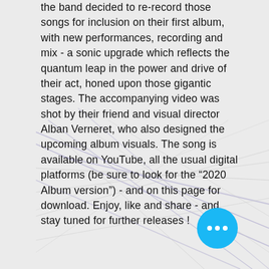the band decided to re-record those songs for inclusion on their first album, with new performances, recording and mix - a sonic upgrade which reflects the quantum leap in the power and drive of their act, honed upon those gigantic stages. The accompanying video was shot by their friend and visual director Alban Verneret, who also designed the upcoming album visuals. The song is available on YouTube, all the usual digital platforms (be sure to look for the "2020 Album version") - and on this page for download. Enjoy, like and share - and stay tuned for further releases !
[Figure (illustration): Abstract decorative background with multiple thin diagonal lines in light grey and muted blue-purple tones crossing over the lower portion of the page]